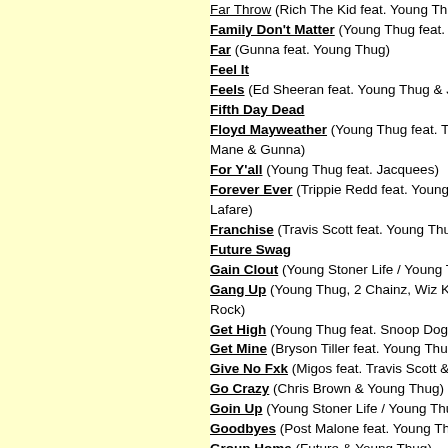Far Throw (Rich The Kid feat. Young Thug & Gunna)
Family Don't Matter (Young Thug feat. Millie Go Lightly)
Far (Gunna feat. Young Thug)
Feel It
Feels (Ed Sheeran feat. Young Thug & J Hus)
Fifth Day Dead
Floyd Mayweather (Young Thug feat. Travis Scott, Gunna, Mane & Gunna)
For Y'all (Young Thug feat. Jacquees)
Forever Ever (Trippie Redd feat. Young Thug & RondoNumbaNine Lafare)
Franchise (Travis Scott feat. Young Thug & M.I.A.)
Future Swag
Gain Clout (Young Stoner Life / Young Thug)
Gang Up (Young Thug, 2 Chainz, Wiz Khalifa & 2 Chainz Rock)
Get High (Young Thug feat. Snoop Dogg & Lil Durk)
Get Mine (Bryson Tiller feat. Young Thug)
Give No Fxk (Migos feat. Travis Scott & Young Thug)
Go Crazy (Chris Brown & Young Thug)
Goin Up (Young Stoner Life / Young Thug feat. Lil Uzi Vert)
Goodbyes (Post Malone feat. Young Thug)
Group Home (Future & Young Thug)
Guwop (Young Thug feat. Quavo, Offset and Young Scooter)
Guwop Home (Gucci Mane / Young Thug)
Halftime
Harambe
Harlem Shake (Future feat. Young Thug)
Hate The Game
Havana (Camila Cabello feat. Young Thug)
Heatstroke (Calvin Harris feat. Young Thug, Pharrell Williams & Ariana Grande)
Hercules
High (Young Thug feat. Elton John)
High End (Chris Brown feat. Future & Young Thug)
High Top Versace (2 Chainz feat. Young Thug)
Hookah (Tyga feat. Young Thug)